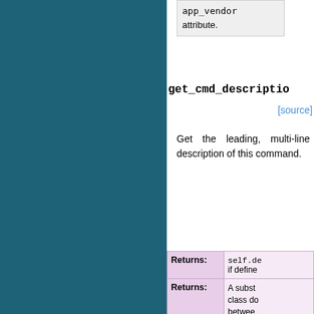app_vendor attribute.
get_cmd_description
[source]
Get the leading, multi-line description of this command.
|  |  |
| --- | --- |
| Returns: | self.de... if define... |
| Returns: | A subst... class do... between... line (wh... discarde... the stri... @EPILOG... present... end of t... |